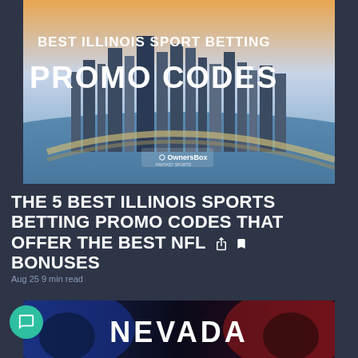[Figure (illustration): Banner image showing Chicago skyline with text overlay reading 'BEST ILLINOIS SPORT BETTING PROMO CODES' with OwnersBox logo in the lower center]
THE 5 BEST ILLINOIS SPORTS BETTING PROMO CODES THAT OFFER THE BEST NFL BONUSES
Aug 25 9 min read
[Figure (photo): Bottom preview image showing a dark sports-themed image with the word NEVADA and football players with blue and red lighting]